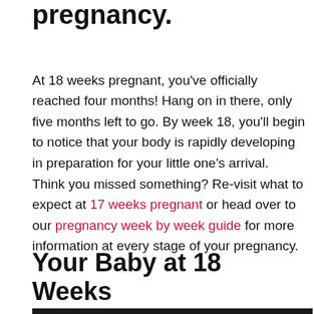pregnancy.
At 18 weeks pregnant, you've officially reached four months! Hang on in there, only five months left to go. By week 18, you'll begin to notice that your body is rapidly developing in preparation for your little one's arrival.
Think you missed something? Re-visit what to expect at 17 weeks pregnant or head over to our pregnancy week by week guide for more information at every stage of your pregnancy.
Your Baby at 18 Weeks Pregnant
[Figure (photo): Dark background photo of what appears to be a pepper or vegetable, partially visible at bottom of page]